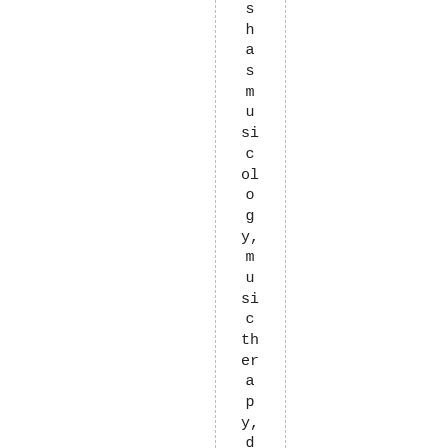s has musicology, music therapy, dance therapy,